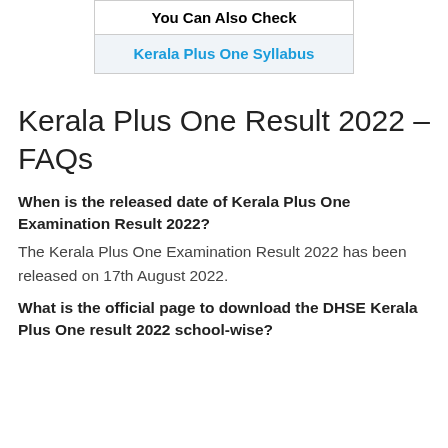| You Can Also Check |
| --- |
| Kerala Plus One Syllabus |
Kerala Plus One Result 2022 – FAQs
When is the released date of Kerala Plus One Examination Result 2022?
The Kerala Plus One Examination Result 2022 has been released on 17th August 2022.
What is the official page to download the DHSE Kerala Plus One result 2022 school-wise?